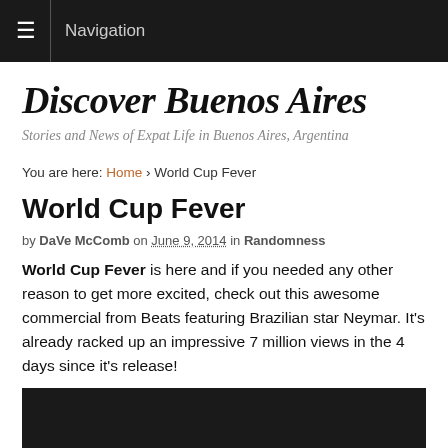≡ Navigation
Discover Buenos Aires
Stories and News of Expat Life in Buenos Aires, Argentina
You are here: Home › World Cup Fever
World Cup Fever
by DaVe McComb on June 9, 2014 in Randomness
World Cup Fever is here and if you needed any other reason to get more excited, check out this awesome commercial from Beats featuring Brazilian star Neymar. It's already racked up an impressive 7 million views in the 4 days since it's release!
[Figure (screenshot): Dark video player placeholder at bottom of page]